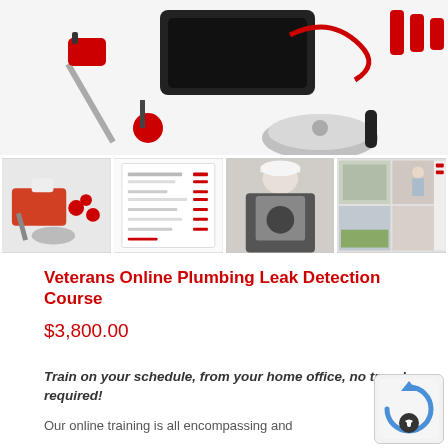[Figure (photo): Hero image showing plumbing leak detection equipment including probes, sensors, a carrying case, and specialized tools with red accents against white background]
[Figure (photo): Four thumbnail images: (1) leak detection equipment kit with red bag and tools, (2) a course document/list page, (3) technician working on equipment wearing white cap, (4) collage of outdoor and indoor training scenes]
Veterans Online Plumbing Leak Detection Course
$3,800.00
Train on your schedule, from your home office, no travel required!
Our online training is all encompassing and